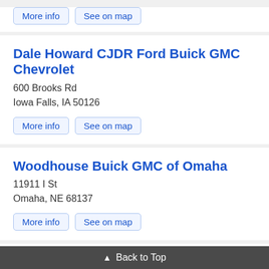More info | See on map
Dale Howard CJDR Ford Buick GMC Chevrolet
600 Brooks Rd
Iowa Falls, IA 50126
More info | See on map
Woodhouse Buick GMC of Omaha
11911 I St
Omaha, NE 68137
More info | See on map
Edwards Chevrolet Buick GMC Cadillac
3400 S Expressway
Council Bluffs, IA 51501
More info | See on map
▲ Back to Top